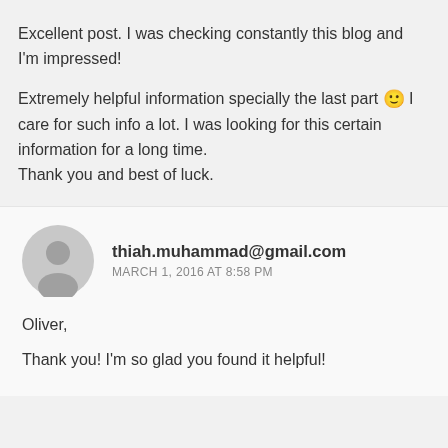Excellent post. I was checking constantly this blog and I'm impressed!
Extremely helpful information specially the last part 🙂 I care for such info a lot. I was looking for this certain information for a long time. Thank you and best of luck.
thiah.muhammad@gmail.com
MARCH 1, 2016 AT 8:58 PM
Oliver,
Thank you! I'm so glad you found it helpful!